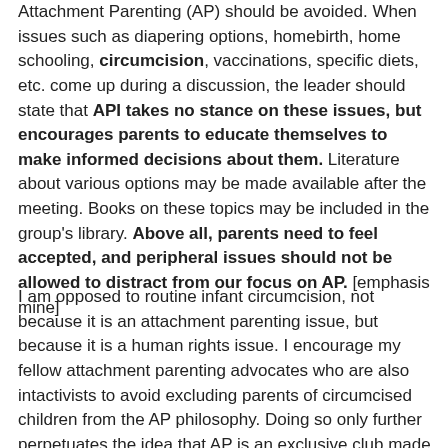Attachment Parenting (AP) should be avoided. When issues such as diapering options, homebirth, home schooling, circumcision, vaccinations, specific diets, etc. come up during a discussion, the leader should state that API takes no stance on these issues, but encourages parents to educate themselves to make informed decisions about them. Literature about various options may be made available after the meeting. Books on these topics may be included in the group's library. Above all, parents need to feel accepted, and peripheral issues should not be allowed to distract from our focus on AP. [emphasis mine]
I am opposed to routine infant circumcision, not because it is an attachment parenting issue, but because it is a human rights issue. I encourage my fellow attachment parenting advocates who are also intactivists to avoid excluding parents of circumcised children from the AP philosophy. Doing so only further perpetuates the idea that AP is an exclusive club made up of strict guidelines that one is